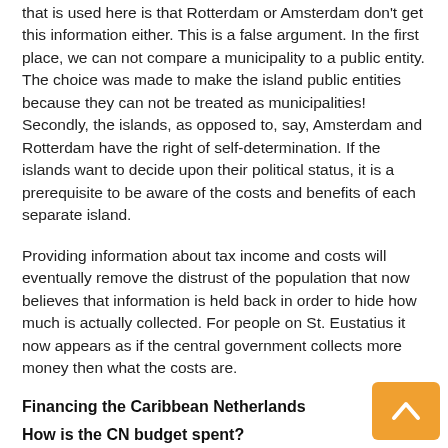that is used here is that Rotterdam or Amsterdam don't get this information either. This is a false argument. In the first place, we can not compare a municipality to a public entity. The choice was made to make the island public entities because they can not be treated as municipalities! Secondly, the islands, as opposed to, say, Amsterdam and Rotterdam have the right of self-determination. If the islands want to decide upon their political status, it is a prerequisite to be aware of the costs and benefits of each separate island.
Providing information about tax income and costs will eventually remove the distrust of the population that now believes that information is held back in order to hide how much is actually collected. For people on St. Eustatius it now appears as if the central government collects more money then what the costs are.
Financing the Caribbean Netherlands
How is the CN budget spent?
Two evaluation reports have been published on the functioning of the RCN (Rijksdienst Caribisch Nederland or the central government